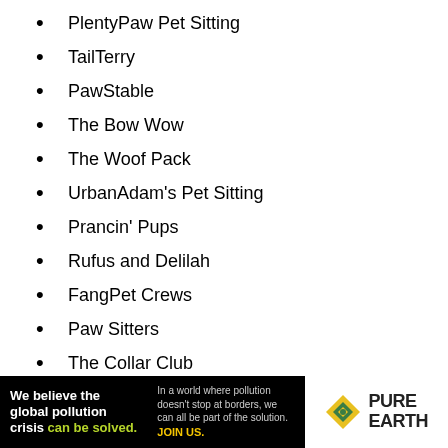PlentyPaw Pet Sitting
TailTerry
PawStable
The Bow Wow
The Woof Pack
UrbanAdam's Pet Sitting
Prancin' Pups
Rufus and Delilah
FangPet Crews
Paw Sitters
The Collar Club
Pupp Mania
The Pooch Papa
[Figure (infographic): Pure Earth advertisement banner: black background on left showing text 'We believe the global pollution crisis can be solved.' with white and green text; smaller grey text on right side; Pure Earth logo on white background on far right with diamond/chevron icon in yellow and green.]